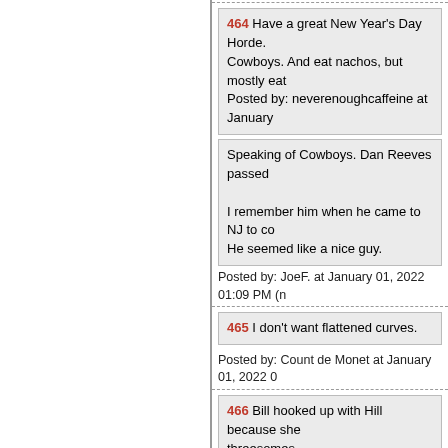464 Have a great New Year's Day Horde. Cowboys. And eat nachos, but mostly eat Cowboys. Posted by: neverenoughcaffeine at January
Speaking of Cowboys. Dan Reeves passed
I remember him when he came to NJ to co He seemed like a nice guy.
Posted by: JoeF. at January 01, 2022 01:09 PM (n
465 I don't want flattened curves.
Posted by: Count de Monet at January 01, 2022 0
466 Bill hooked up with Hill because she threesomes. Posted by: davidt at January 01, 2022 01:0
So you're saying at one point she was lika
Posted by: Robert at January 01, 2022 01:10 PM